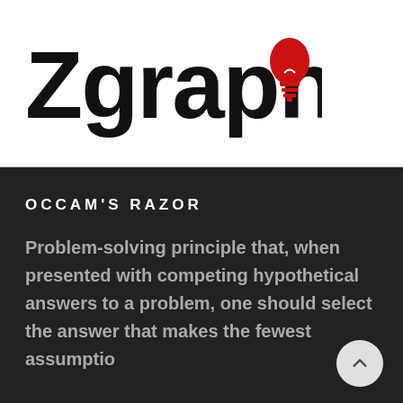[Figure (logo): Zgraphik logo with bold black text and red lightbulb icon replacing the letter O]
OCCAM'S RAZOR
Problem-solving principle that, when presented with competing hypothetical answers to a problem, one should select the answer that makes the fewest assumptio…